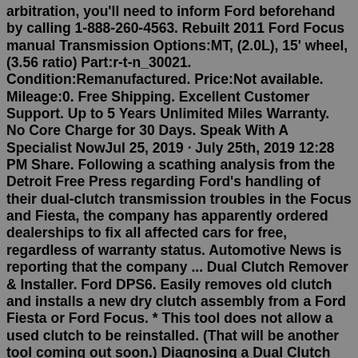arbitration, you'll need to inform Ford beforehand by calling 1-888-260-4563. Rebuilt 2011 Ford Focus manual Transmission Options:MT, (2.0L), 15' wheel, (3.56 ratio) Part:r-t-n_30021. Condition:Remanufactured. Price:Not available. Mileage:0. Free Shipping. Excellent Customer Support. Up to 5 Years Unlimited Miles Warranty. No Core Charge for 30 Days. Speak With A Specialist NowJul 25, 2019 · July 25th, 2019 12:28 PM Share. Following a scathing analysis from the Detroit Free Press regarding Ford's handling of their dual-clutch transmission troubles in the Focus and Fiesta, the company has apparently ordered dealerships to fix all affected cars for free, regardless of warranty status. Automotive News is reporting that the company ... Dual Clutch Remover & Installer. Ford DPS6. Easily removes old clutch and installs a new dry clutch assembly from a Ford Fiesta or Ford Focus. * This tool does not allow a used clutch to be reinstalled. (That will be another tool coming out soon.) Diagnosing a Dual Clutch Transmission on a 2013